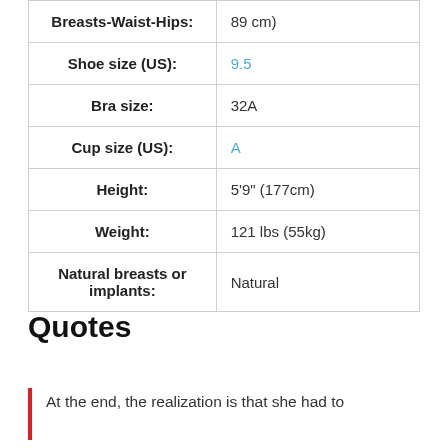| Attribute | Value |
| --- | --- |
| Breasts-Waist-Hips: | 89 cm) |
| Shoe size (US): | 9.5 |
| Bra size: | 32A |
| Cup size (US): | A |
| Height: | 5'9" (177cm) |
| Weight: | 121 lbs (55kg) |
| Natural breasts or implants: | Natural |
Quotes
At the end, the realization is that she had to